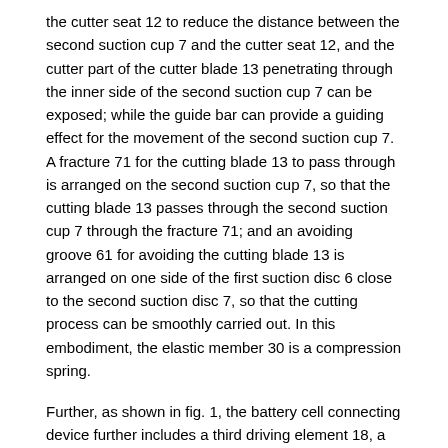the cutter seat 12 to reduce the distance between the second suction cup 7 and the cutter seat 12, and the cutter part of the cutter blade 13 penetrating through the inner side of the second suction cup 7 can be exposed; while the guide bar can provide a guiding effect for the movement of the second suction cup 7. A fracture 71 for the cutting blade 13 to pass through is arranged on the second suction cup 7, so that the cutting blade 13 passes through the second suction cup 7 through the fracture 71; and an avoiding groove 61 for avoiding the cutting blade 13 is arranged on one side of the first suction disc 6 close to the second suction disc 7, so that the cutting process can be smoothly carried out. In this embodiment, the elastic member 30 is a compression spring.
Further, as shown in fig. 1, the battery cell connecting device further includes a third driving element 18, a fourth driving element 19, a fifth driving element 20, a sixth driving element 21, a seventh driving element, and an eighth driving element 22. The fixed end of the third driving piece 18 is arranged on the bottom plate 1, and the driving end of the third driving piece 18 is connected to the first sliding plate 2 so as to drive the first sliding plate 2 to slide along a